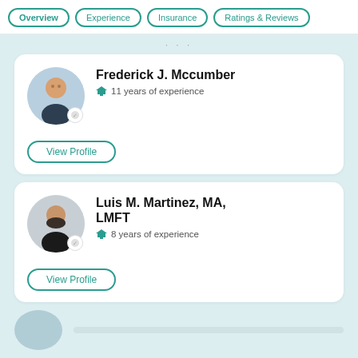Overview | Experience | Insurance | Ratings & Reviews
[Figure (photo): Profile photo of Frederick J. Mccumber, a middle-aged man in business attire]
Frederick J. Mccumber
11 years of experience
View Profile
[Figure (photo): Profile photo of Luis M. Martinez, a man with a beard]
Luis M. Martinez, MA, LMFT
8 years of experience
View Profile
800-388-9804